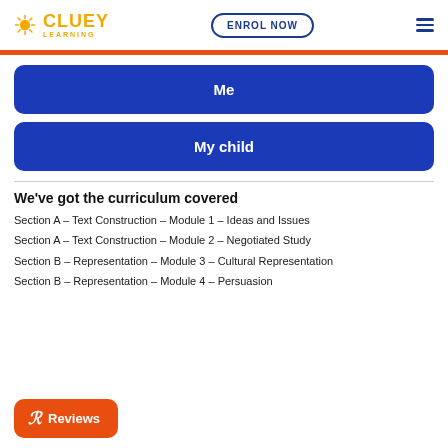CLUEY LEARNING | ENROL NOW
Me
My child
We've got the curriculum covered
Section A – Text Construction – Module 1 – Ideas and Issues
Section A – Text Construction – Module 2 – Negotiated Study
Section B – Representation – Module 3 – Cultural Representation
Section B – Representation – Module 4 – Persuasion
Reviews